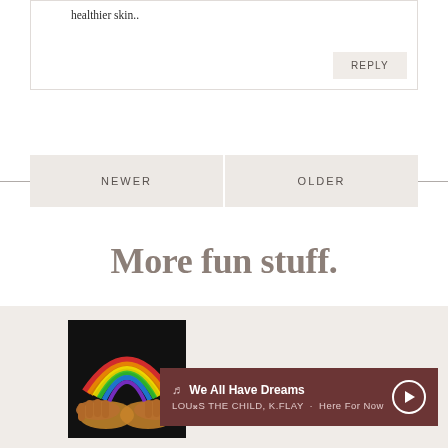healthier skin..
REPLY
NEWER
OLDER
More fun stuff.
[Figure (photo): Hands holding a rainbow-colored arc/light shape against a black background, album art for 'Here For Now']
♩  We All Have Dreams
LOUIS THE CHILD, K.FLAY · Here For Now